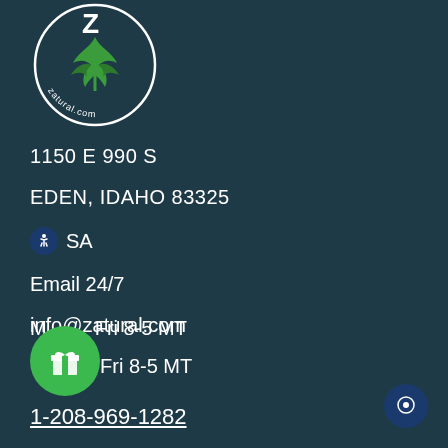[Figure (logo): Zatural.com circular logo with cannabis leaf and stylized Z]
1150 E 990 S
EDEN, IDAHO 83325
USA
Email 24/7
info@zatural.com
Mon-Fri 8-5 MT
1-208-969-1282